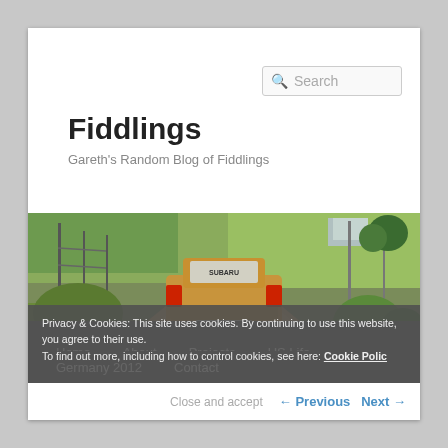Search
Fiddlings
Gareth's Random Blog of Fiddlings
[Figure (photo): Rear view of a muddy Subaru rally car on a dirt road with green fields and countryside in the background]
Privacy & Cookies: This site uses cookies. By continuing to use this website, you agree to their use. To find out more, including how to control cookies, see here: Cookie Policy
Home   About   Projects   US Life   Germany 2012   Contact
Close and accept
← Previous   Next →